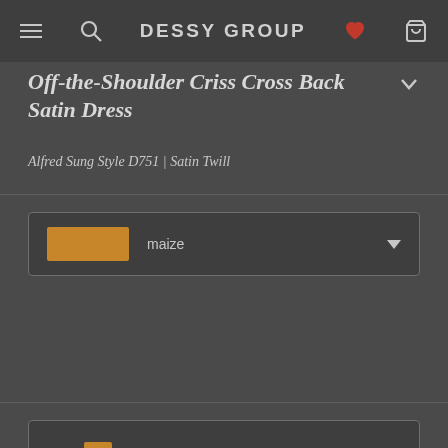DESSY GROUP
Off-the-Shoulder Criss Cross Back Satin Dress
Alfred Sung Style D751  |  Satin Twill
maize
ORDER FREE SWATCH – MAIZE